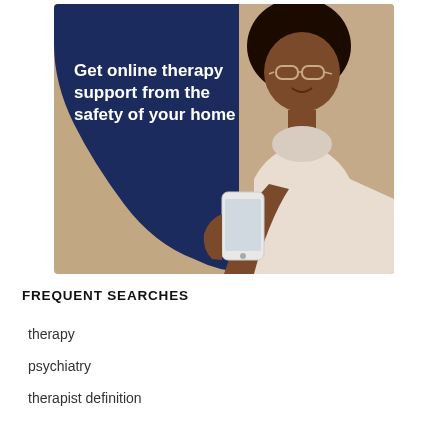[Figure (photo): Advertisement image showing a woman with curly hair and glasses holding a smartphone, with a dark navy blue rounded background shape behind her and white bold text reading 'Get online therapy support from the safety of your home']
FREQUENT SEARCHES
therapy
psychiatry
therapist definition